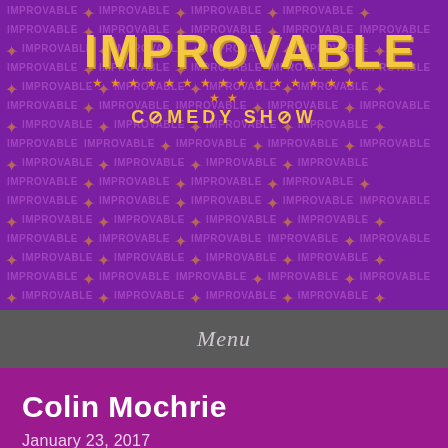[Figure (other): Purple background with repeated watermark text 'IMPROVABLE' in lighter purple, with orange star separators. Logo at center top reads 'IMPROVABLE COMEDY SHOW' in gold/yellow bold font with stars underline.]
IMPROVABLE COMEDY SHOW
Menu
Colin Mochrie
January 23, 2017
Follow ...